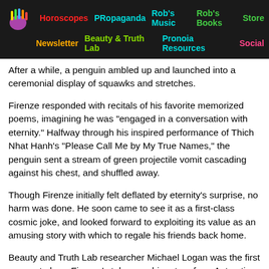Horoscopes | PRopaganda | Rob's Music | Rob's Books | Store | Newsletter | Beauty & Truth Lab | Pronoia Resources | Social
After a while, a penguin ambled up and launched into a ceremonial display of squawks and stretches.
Firenze responded with recitals of his favorite memorized poems, imagining he was "engaged in a conversation with eternity." Halfway through his inspired performance of Thich Nhat Hanh's "Please Call Me by My True Names," the penguin sent a stream of green projectile vomit cascading against his chest, and shuffled away.
Though Firenze initially felt deflated by eternity's surprise, no harm was done. He soon came to see it as a first-class cosmic joke, and looked forward to exploiting its value as an amusing story with which to regale his friends back home.
Beauty and Truth Lab researcher Michael Logan was the first person to hear Firenze's tale upon his return from Antarctica.